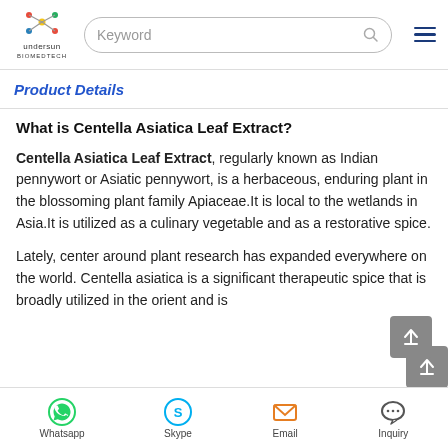Undersun Biomedtech | Keyword search bar | Navigation menu
Product Details
What is Centella Asiatica Leaf Extract?
Centella Asiatica Leaf Extract, regularly known as Indian pennywort or Asiatic pennywort, is a herbaceous, enduring plant in the blossoming plant family Apiaceae.It is local to the wetlands in Asia.It is utilized as a culinary vegetable and as a restorative spice.
Lately, center around plant research has expanded everywhere on the world. Centella asiatica is a significant therapeutic spice that is broadly utilized in the orient and is
Whatsapp | Skype | Email | Inquiry